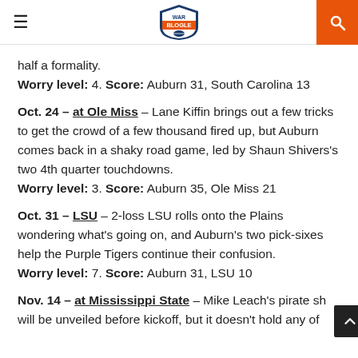War Blogle
half a formality.
Worry level: 4. Score: Auburn 31, South Carolina 13
Oct. 24 – at Ole Miss – Lane Kiffin brings out a few tricks to get the crowd of a few thousand fired up, but Auburn comes back in a shaky road game, led by Shaun Shivers's two 4th quarter touchdowns.
Worry level: 3. Score: Auburn 35, Ole Miss 21
Oct. 31 – LSU – 2-loss LSU rolls onto the Plains wondering what's going on, and Auburn's two pick-sixes help the Purple Tigers continue their confusion.
Worry level: 7. Score: Auburn 31, LSU 10
Nov. 14 – at Mississippi State – Mike Leach's pirate ship will be unveiled before kickoff, but it doesn't hold any of